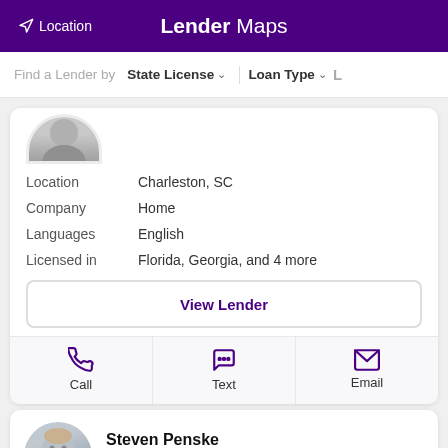Location  Lender Maps
Find a Lender by  State License ∨  Loan Type ∨
[Figure (photo): Partial view of a lender profile photo (top of head only visible)]
| Field | Value |
| --- | --- |
| Location | Charleston, SC |
| Company | Home |
| Languages | English |
| Licensed in | Florida, Georgia, and 4 more |
View Lender
Call  Text  Email
Steven Penske
VP of Mortgage Lending
NMLS # 279419